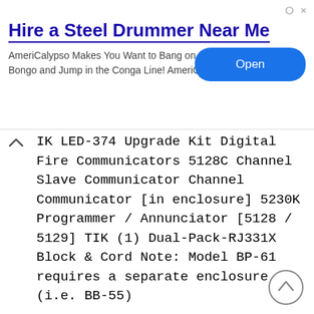[Figure (other): Advertisement banner: 'Hire a Steel Drummer Near Me' by AmeriCalypso with an Open button]
IK LED-374 Upgrade Kit Digital Fire Communicators 5128C Channel Slave Communicator Channel Communicator [in enclosure] 5230K Programmer / Annunciator [5128 / 5129] TIK (1) Dual-Pack-RJ331X Block & Cord Note: Model BP-61 requires a separate enclosure (i.e. BB-55)